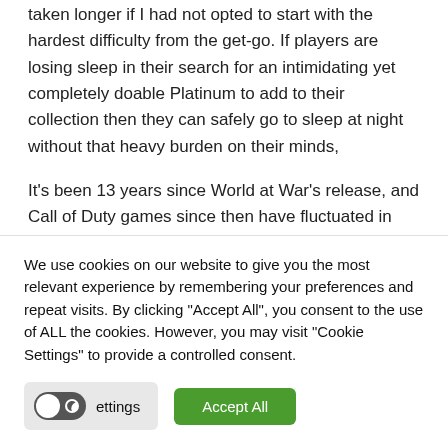taken longer if I had not opted to start with the hardest difficulty from the get-go. If players are losing sleep in their search for an intimidating yet completely doable Platinum to add to their collection then they can safely go to sleep at night without that heavy burden on their minds,
It's been 13 years since World at War's release, and Call of Duty games since then have fluctuated in how crushing their Veteran modes are. I have
We use cookies on our website to give you the most relevant experience by remembering your preferences and repeat visits. By clicking "Accept All", you consent to the use of ALL the cookies. However, you may visit "Cookie Settings" to provide a controlled consent.